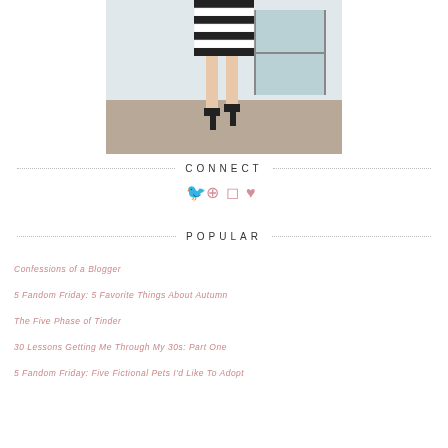[Figure (photo): A person wearing a black and white striped skirt and black heels, standing outside a building with a glass door, gravel ground visible]
CONNECT
[Figure (infographic): Four social media icons in pink/salmon color: Twitter bird, Pinterest P, Instagram camera, and a heart icon]
POPULAR
Confessions of a Blogger
5 Fandom Friday: 5 Favorite Things About Autumn
The Five Phase of Tinder
30 Lessons Getting Me Through My 30s: Part One
5 Fandom Friday: Five Fictional Pets I'd Like To Adopt